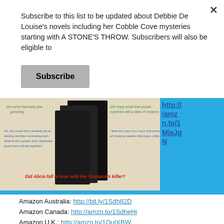Subscribe to this list to be updated about Debbie De Louise's novels including her Cobble Cove mysteries starting with A STONE'S THROW. Subscribers will also be eligible to
Subscribe
[Figure (illustration): Book cover image for a mystery novel with text 'Did Alicia fall in love with her husband's killer?' and reader reviews, alongside a link http://amzn.to/1MjaJgN in blue bar]
Amazon Australia: http://bit.ly/1Sdh82D
Amazon Canada: http://amzn.to/1SdheHi
Amazon U.K.: http://amzn.to/1QutXBW
Barnes and Noble: http://bit.ly/1nQPyv4
Kobo: http://bit.ly/1KGYHep
Also available on iTunes and Ingram